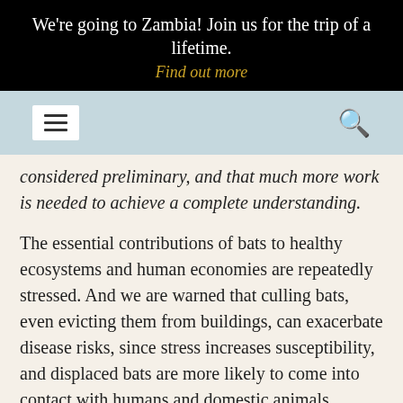We're going to Zambia! Join us for the trip of a lifetime. Find out more
considered preliminary, and that much more work is needed to achieve a complete understanding.
The essential contributions of bats to healthy ecosystems and human economies are repeatedly stressed. And we are warned that culling bats, even evicting them from buildings, can exacerbate disease risks, since stress increases susceptibility, and displaced bats are more likely to come into contact with humans and domestic animals.
Nevertheless, in my decades of experience conserving